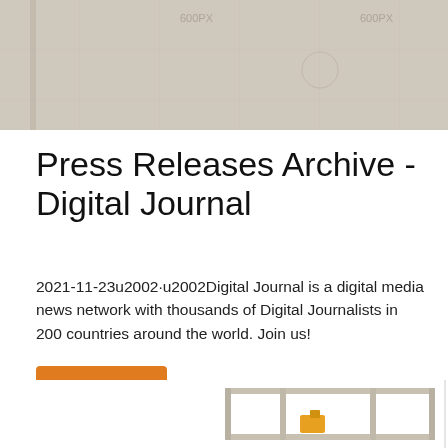[Figure (photo): Top portion of a document or engineering drawing visible at the top of the page, beige/tan colored background with faint grid lines]
Press Releases Archive - Digital Journal
2021-11-23u2002·u2002Digital Journal is a digital media news network with thousands of Digital Journalists in 200 countries around the world. Join us!
[Figure (other): Orange 'Get Price' button]
[Figure (photo): Industrial machine or equipment frame/rack at the bottom of the page]